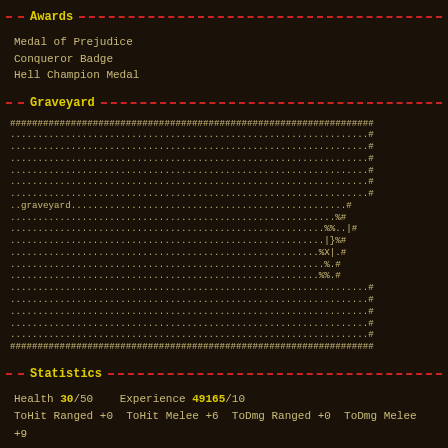Awards
Medal of Prejudice
Conqueror Badge
Hell Champion Medal
Graveyard
[Figure (other): ASCII art graveyard map made of #, ., %, X, |, { } characters]
Statistics
Health 30/50    Experience 49165/10
ToHit Ranged +0  ToHit Melee +6  ToDmg Ranged +0  ToDmg Melee +9
Traits